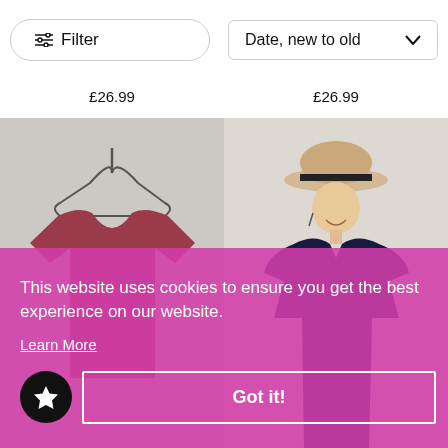[Figure (screenshot): Filter button with slider icon and 'Filter' text, pill-shaped border]
[Figure (screenshot): Sort dropdown showing 'Date, new to old' with chevron icon]
£26.99
£26.99
[Figure (photo): Dark red/maroon t-shirt on a hanger against light background]
[Figure (photo): Woman wearing navy wrap dress and beige sun hat, smiling]
This website uses cookies to ensure you get the best experience on our website.
Learn More
Got it!